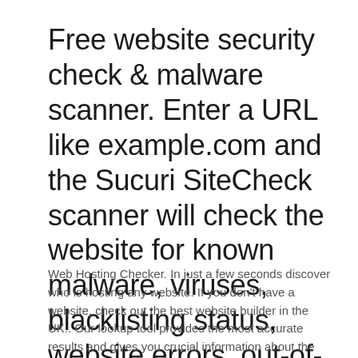Free website security check & malware scanner. Enter a URL like example.com and the Sucuri SiteCheck scanner will check the website for known malware, viruses, blacklisting status, website errors, out-of-date software, and malicious code.
Web Hosting Checker. In just a few seconds discover who is hosting any website. If you don't have a website, check out the best website builder in the UK.. Our lookup tool provides the most accurate results and gives you crucial information about the site, like: Host information, Offline / Online checker, Alexa